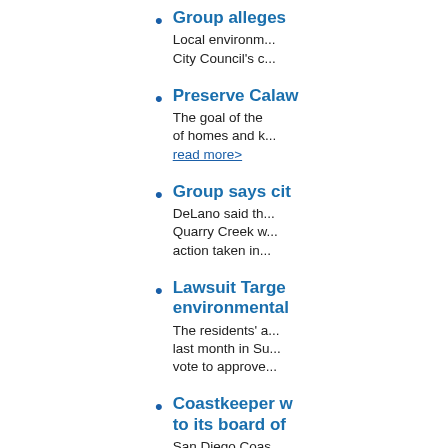Group alleges
Local environm... City Council's c...
Preserve Calaw...
The goal of the... of homes and k... read more>
Group says cit...
DeLano said th... Quarry Creek w... action taken in...
Lawsuit Targe... environmental...
The residents' a... last month in Su... vote to approve...
Coastkeeper w... to its board of...
San Diego Coas... swimmable, an...